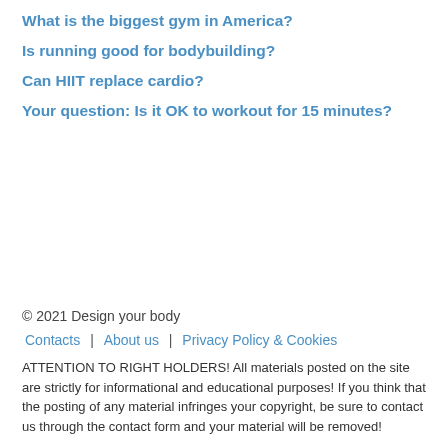What is the biggest gym in America?
Is running good for bodybuilding?
Can HIIT replace cardio?
Your question: Is it OK to workout for 15 minutes?
© 2021 Design your body
Contacts | About us | Privacy Policy & Cookies
ATTENTION TO RIGHT HOLDERS! All materials posted on the site are strictly for informational and educational purposes! If you think that the posting of any material infringes your copyright, be sure to contact us through the contact form and your material will be removed!